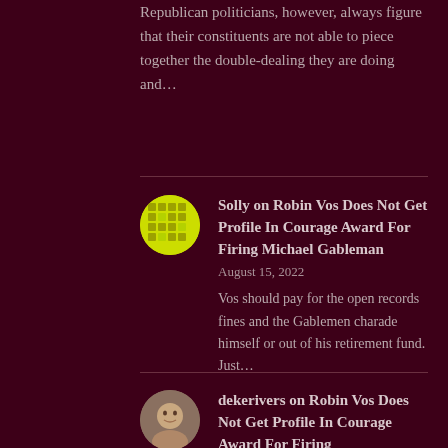Republican politicians, however, always figure that their constituents are not able to piece together the double-dealing they are doing and…
Solly on Robin Vos Does Not Get Profile In Courage Award For Firing Michael Gableman
August 15, 2022
Vos should pay for the open records fines and the Gablemen charade himself or out of his retirement fund. Just…
dekerivers on Robin Vos Does Not Get Profile In Courage Award For Firing